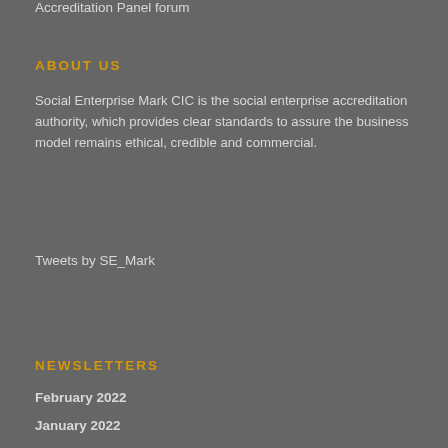Accreditation Panel forum
ABOUT US
Social Enterprise Mark CIC is the social enterprise accreditation authority, which provides clear standards to assure the business model remains ethical, credible and commercial.
Tweets by SE_Mark
NEWSLETTERS
February 2022
January 2022